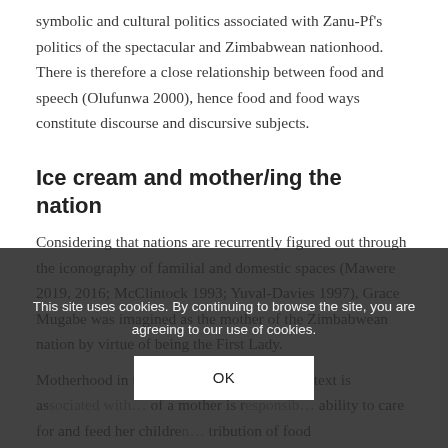symbolic and cultural politics associated with Zanu-Pf's politics of the spectacular and Zimbabwean nationhood. There is therefore a close relationship between food and speech (Olufunwa 2000), hence food and food ways constitute discourse and discursive subjects.
Ice cream and mother/ing the nation
Considering that nations are recurrently figured out through the iconography of familial and domestic spaces (Mawere 2019, 2016; McClintock 1993; Yuval-Davies 1997), Grace Mugabe was imagined as the mother of the Zimbabwean nation by virtue of being the First Lady. Motherhood in the Zimbabwean cultural context is as... of a mother is r... ability to care for and feed her childre... tribution of food visualizes and memoria... hood and mother-child
This site uses cookies. By continuing to browse the site, you are agreeing to our use of cookies.